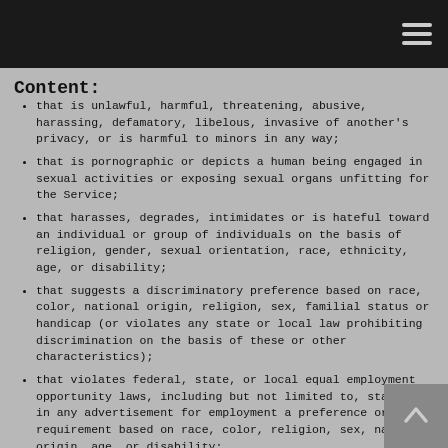Content:
that is unlawful, harmful, threatening, abusive, harassing, defamatory, libelous, invasive of another's privacy, or is harmful to minors in any way;
that is pornographic or depicts a human being engaged in sexual activities or exposing sexual organs unfitting for the Service;
that harasses, degrades, intimidates or is hateful toward an individual or group of individuals on the basis of religion, gender, sexual orientation, race, ethnicity, age, or disability;
that suggests a discriminatory preference based on race, color, national origin, religion, sex, familial status or handicap (or violates any state or local law prohibiting discrimination on the basis of these or other characteristics);
that violates federal, state, or local equal employment opportunity laws, including but not limited to, stating in any advertisement for employment a preference or requirement based on race, color, religion, sex, national origin, age, or disability;
with respect to employers that employ four or more employees, that violates the anti-discrimination provision of the Immigration and Nationality Act, including requiring U.S. citizenship or lawful permanent residency (green card status) as a condition for employment, unless otherwise required in order to comply with law, regulation, executive order, or federal, state, or local government